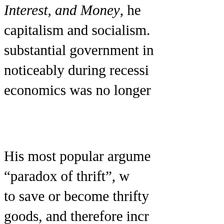Interest, and Money, he capitalism and socialism. substantial government in noticeably during recessi economics was no longer
His most popular argume “paradox of thrift”, w to save or become thrifty goods, and therefore incr promotion of government government, not private a the marginal efficiency of social advantage”.
The two concepts largely since more private marke also tend to invest less, c government, using its abi selectively invest to comp